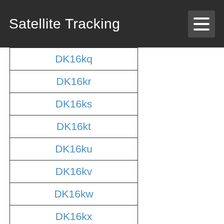Satellite Tracking
DK16kq
DK16kr
DK16ks
DK16kt
DK16ku
DK16kv
DK16kw
DK16kx
DK16la
DK16lb
DK16lc
DK16ld
DK16le
DK16lf
DK16lg
DK16lh
DK16li
DK16li